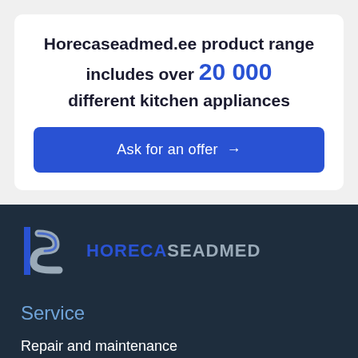Horecaseadmed.ee product range includes over 20 000 different kitchen appliances
Ask for an offer →
[Figure (logo): Horecaseadmed logo with stylized HS letters in blue and grey on dark background]
Service
Repair and maintenance
Valuation
Warranty